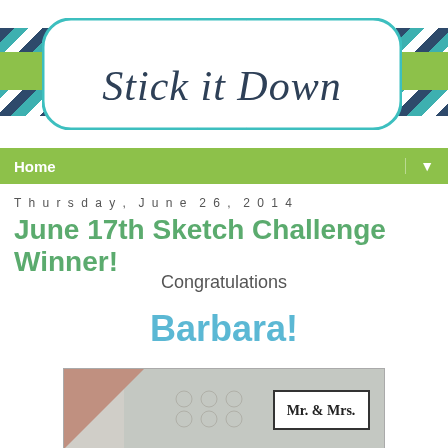[Figure (logo): Stick it Down blog logo with teal decorative label frame, green horizontal bar, and chevron patterned side panels]
Home ▼
Thursday, June 26, 2014
June 17th Sketch Challenge Winner!
Congratulations
Barbara!
[Figure (photo): Scrapbook card with Mr. & Mrs. label, hexagonal pattern background, diagonal design]